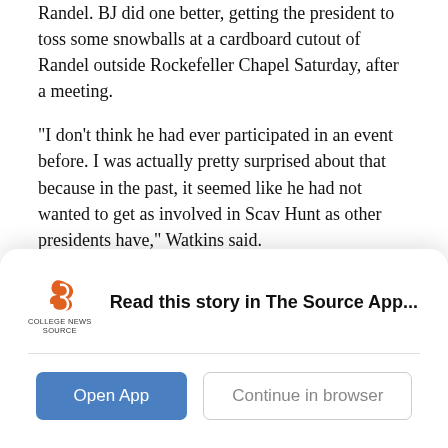Randel. BJ did one better, getting the president to toss some snowballs at a cardboard cutout of Randel outside Rockefeller Chapel Saturday, after a meeting.
“I don’t think he had ever participated in an event before. I was actually pretty surprised about that because in the past, it seemed like he had not wanted to get as involved in Scav Hunt as other presidents have,” Watkins said.
He threw around 10 snowballs (made of shaved ice) just to the left of the Randel cutout.
Across the Midway, the South Campus team was hard
[Figure (logo): College News Source logo with stylized 'S' icon and text 'COLLEGE NEWS SOURCE']
Read this story in The Source App...
Open App
Continue in browser